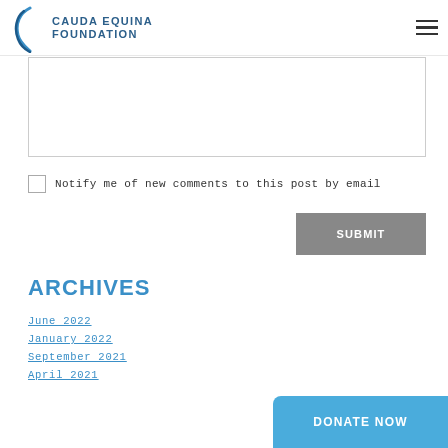Cauda Equina Foundation
[Figure (other): Text input textarea box, empty]
Notify me of new comments to this post by email
SUBMIT
ARCHIVES
June 2022
January 2022
September 2021
April 2021
DONATE NOW